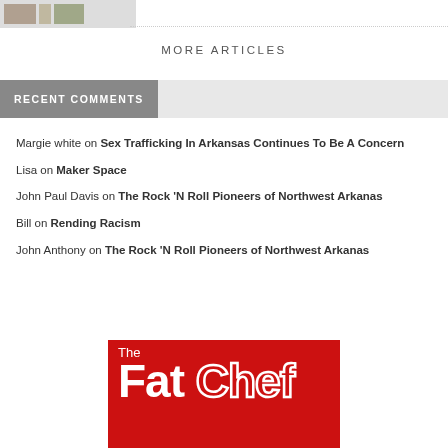[Figure (illustration): Small icon/thumbnail images at top left]
MORE ARTICLES
RECENT COMMENTS
Margie white on Sex Trafficking In Arkansas Continues To Be A Concern
Lisa on Maker Space
John Paul Davis on The Rock 'N Roll Pioneers of Northwest Arkanas
Bill on Rending Racism
John Anthony on The Rock 'N Roll Pioneers of Northwest Arkanas
[Figure (logo): The Fat Chef logo — red background with white bold text]